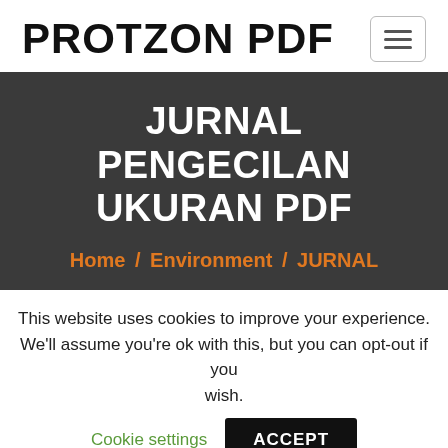PROTZON PDF
JURNAL PENGECILAN UKURAN PDF
Home / Environment / JURNAL
This website uses cookies to improve your experience. We'll assume you're ok with this, but you can opt-out if you wish.
Cookie settings  ACCEPT